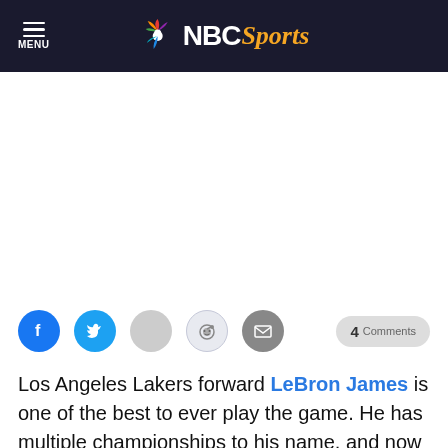NBC Sports – MENU / NBC Sports logo
[Figure (other): White advertisement/blank placeholder area]
[Figure (infographic): Social sharing buttons: Facebook, Twitter, share (gray), Reddit, Email; and a '4 Comments' button on the right]
Los Angeles Lakers forward LeBron James is one of the best to ever play the game. He has multiple championships to his name, and now it seems as though he might take a different direction in the Sunshine state with...